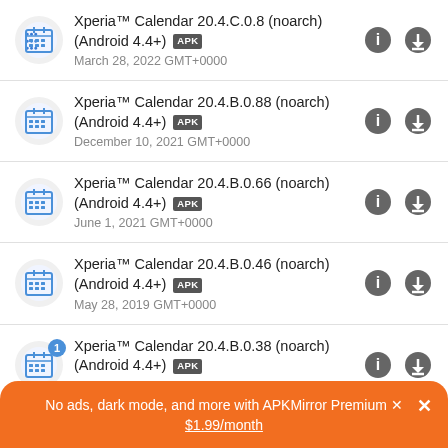Xperia™ Calendar 20.4.C.0.8 (noarch) (Android 4.4+) APK
March 28, 2022 GMT+0000
Xperia™ Calendar 20.4.B.0.88 (noarch) (Android 4.4+) APK
December 10, 2021 GMT+0000
Xperia™ Calendar 20.4.B.0.66 (noarch) (Android 4.4+) APK
June 1, 2021 GMT+0000
Xperia™ Calendar 20.4.B.0.46 (noarch) (Android 4.4+) APK
May 28, 2019 GMT+0000
Xperia™ Calendar 20.4.B.0.38 (noarch) (Android 4.4+) APK
March 1, 2019 GMT+0000
No ads, dark mode, and more with APKMirror Premium × $1.99/month